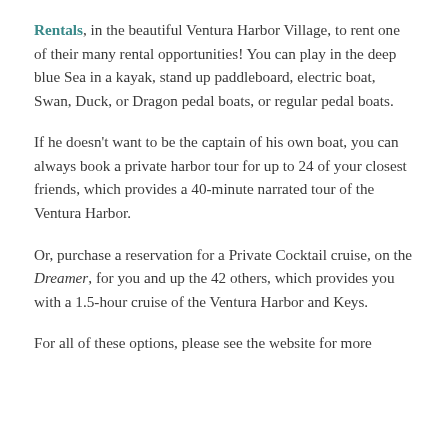Rentals, in the beautiful Ventura Harbor Village, to rent one of their many rental opportunities!  You can play in the deep blue Sea in a kayak, stand up paddleboard, electric boat, Swan, Duck, or Dragon pedal boats, or regular pedal boats.
If he doesn't want to be the captain of his own boat, you can always book a private harbor tour for up to 24 of your closest friends, which provides a 40-minute narrated tour of the Ventura Harbor.
Or, purchase a reservation for a Private Cocktail cruise, on the Dreamer, for you and up the 42 others, which provides you with a 1.5-hour cruise of the Ventura Harbor and Keys.
For all of these options, please see the website for more